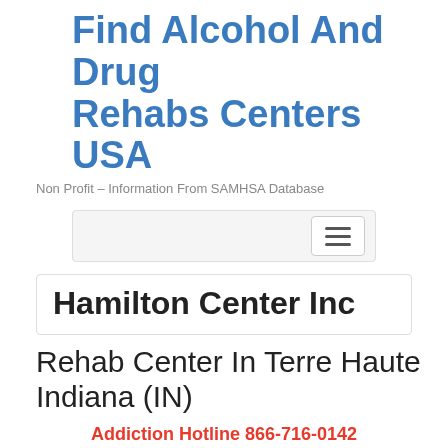Find Alcohol And Drug Rehabs Centers USA
Non Profit – Information From SAMHSA Database
[Figure (other): Navigation bar with hamburger menu button]
Hamilton Center Inc
Rehab Center In Terre Haute Indiana (IN)
Addiction Hotline 866-716-0142
abuse treatment this rehab center provides.All information was gathered from the SAMHSA Behavioral Health Treatment Services